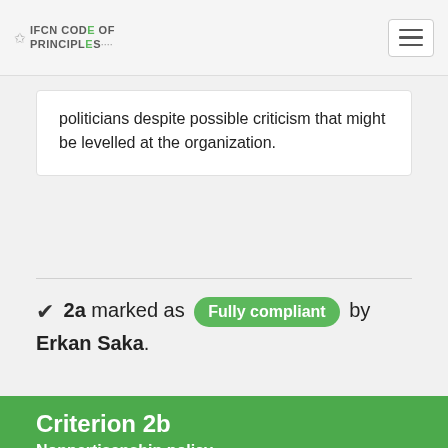IFCN CODE OF PRINCIPLES
politicians despite possible criticism that might be levelled at the organization.
✔ 2a marked as Fully compliant by Erkan Saka.
Criterion 2b
Nonpartisanship policy
Evidence required: Please share evidence of your policy preventing staff from direct involvement in political parties and advocacy organizations. Please also indicate the policy